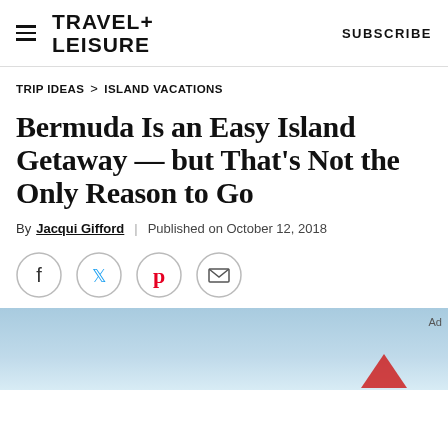TRAVEL+ LEISURE    SUBSCRIBE
TRIP IDEAS > ISLAND VACATIONS
Bermuda Is an Easy Island Getaway — but That's Not the Only Reason to Go
By Jacqui Gifford | Published on October 12, 2018
[Figure (other): Social sharing icons: Facebook, Twitter, Pinterest, Email]
[Figure (photo): Partial photo showing a blue sky with a hint of a red sailboat at the bottom right corner, with an Ad label in the top right]